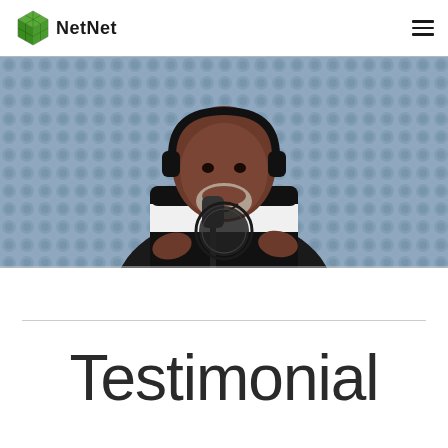NetNet
[Figure (photo): A man wearing headphones and a black-and-white striped sweater sits in front of a podcast microphone in a recording studio with blue acoustic foam padding in the background. He is smiling and gesturing with his hands.]
Testimonial